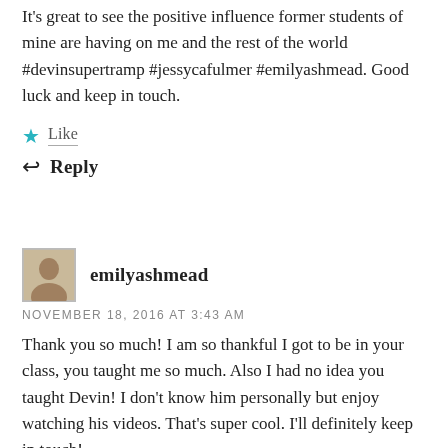It's great to see the positive influence former students of mine are having on me and the rest of the world #devinsupertramp #jessycafulmer #emilyashmead. Good luck and keep in touch.
Like
Reply
emilyashmead
NOVEMBER 18, 2016 AT 3:43 AM
Thank you so much! I am so thankful I got to be in your class, you taught me so much. Also I had no idea you taught Devin! I don't know him personally but enjoy watching his videos. That's super cool. I'll definitely keep in touch!